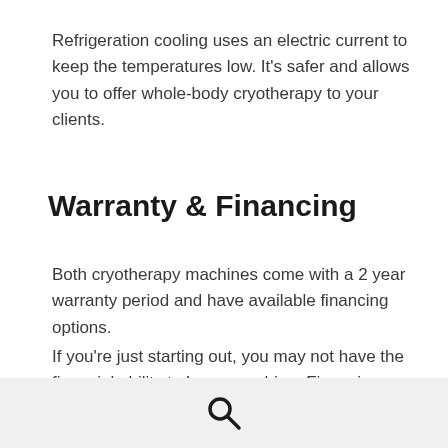Refrigeration cooling uses an electric current to keep the temperatures low. It’s safer and allows you to offer whole-body cryotherapy to your clients.
Warranty & Financing
Both cryotherapy machines come with a 2 year warranty period and have available financing options.
If you’re just starting out, you may not have the financial ability to buy a machine. Financing options allow you to start without breaking the bank. It also allows you to grow your business worry-free, especially if the payment
[search icon]